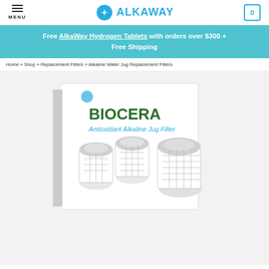MENU | ALKAWAY | 0
Free AlkaWay Hydrogen Tablets with orders over $300 + Free Shipping
Home » Shop » Replacement Filters » Alkaline Water Jug Replacement Filters
[Figure (photo): Biocera Antioxidant Alkaline Jug Filter product box with three white filter cartridges displayed in front]